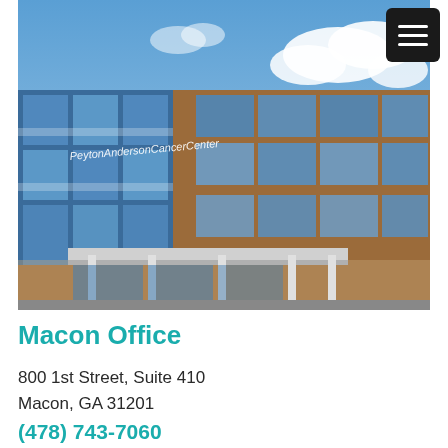[Figure (photo): Exterior photo of Peyton Anderson Cancer Center building — a multi-story brick building with large glass windows reflecting blue sky, with white lettering reading 'Peyton Anderson Cancer Center' on the facade. Blue sky with white clouds in background. Glass-enclosed entrance at ground level.]
Macon Office
800 1st Street, Suite 410
Macon, GA 31201
(478) 743-7060